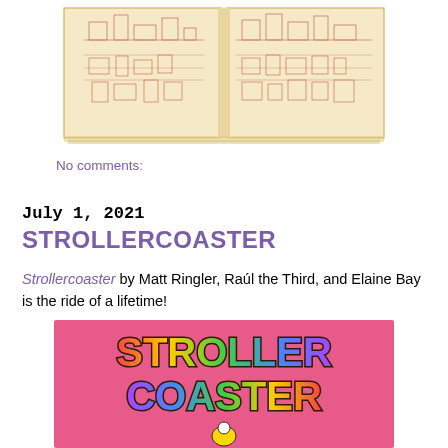[Figure (illustration): Top portion of an open illustrated book showing a detailed cityscape drawing in warm yellow/brown tones with buildings, streets and figures visible]
No comments:
July 1, 2021
STROLLERCOASTER
Strollercoaster by Matt Ringler, Raúl the Third, and Elaine Bay is the ride of a lifetime!
[Figure (illustration): Book cover of Strollercoaster with colorful graffiti-style lettering on a pink background, showing the title STROLLER COASTER with a small cartoon figure at the bottom]